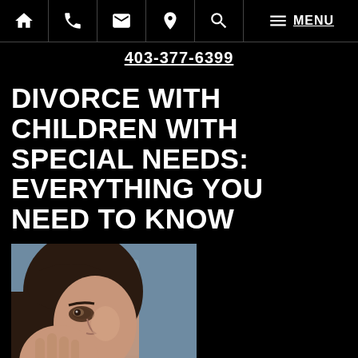Navigation bar with icons: home, phone, email, location, search, menu | MENU | 403-377-6399
DIVORCE WITH CHILDREN WITH SPECIAL NEEDS: EVERYTHING YOU NEED TO KNOW
[Figure (photo): A woman with dark hair and dark eye makeup looking distressed, resting her hand near her face, with a blurred blue background.]
If your child has a disability, the mere thought of divorce